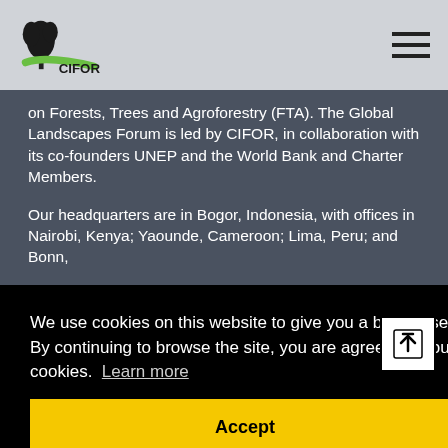[Figure (logo): CIFOR logo — tree icon above green swoosh with CIFOR text]
on Forests, Trees and Agroforestry (FTA). The Global Landscapes Forum is led by CIFOR, in collaboration with its co-founders UNEP and the World Bank and Charter Members.
Our headquarters are in Bogor, Indonesia, with offices in Nairobi, Kenya; Yaounde, Cameroon; Lima, Peru; and Bonn,
We use cookies on this website to give you a better user experience. By continuing to browse the site, you are agreeing to our use of cookies.  Learn more
Accept
Jalan CIFOR                              Lima, Peru